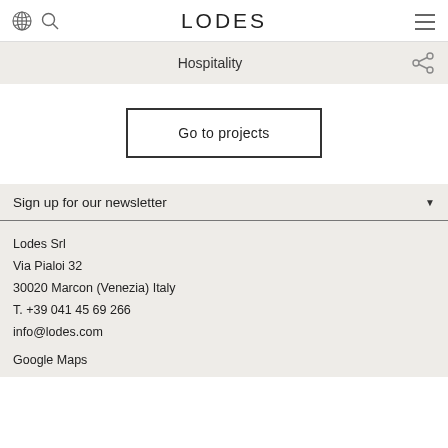LODES
Hospitality
Go to projects
Sign up for our newsletter
Lodes Srl
Via Pialoi 32
30020 Marcon (Venezia) Italy
T. +39 041 45 69 266
info@lodes.com
Google Maps